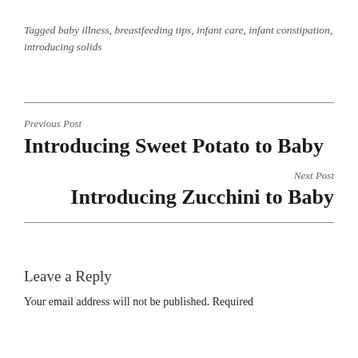Tagged baby illness, breastfeeding tips, infant care, infant constipation, introducing solids
Previous Post
Introducing Sweet Potato to Baby
Next Post
Introducing Zucchini to Baby
Leave a Reply
Your email address will not be published. Required